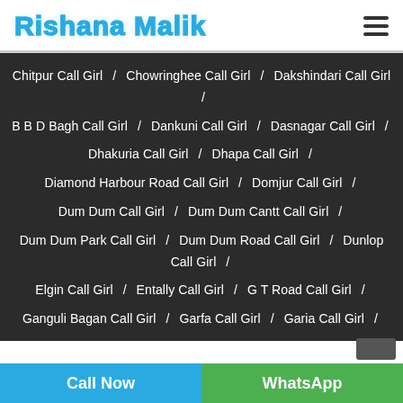Rishana Malik
Chitpur Call Girl / Chowringhee Call Girl / Dakshindari Call Girl / B B D Bagh Call Girl / Dankuni Call Girl / Dasnagar Call Girl / Dhakuria Call Girl / Dhapa Call Girl / Diamond Harbour Road Call Girl / Domjur Call Girl / Dum Dum Call Girl / Dum Dum Cantt Call Girl / Dum Dum Park Call Girl / Dum Dum Road Call Girl / Dunlop Call Girl / Elgin Call Girl / Entally Call Girl / G T Road Call Girl / Ganguli Bagan Call Girl / Garfa Call Girl / Garia Call Girl / Ghusuri Call Girl / Golf Green Call Girl / Golpark Call Girl / Haltu Call Girl / Harish Mukherjee Road Call Girl / Hastings Call Girl / Hati Bagan Call Girl / Hatkhola Call Girl / Hazra Road Call Girl / Hindustan Park Call Girl / Ichapur Call Girl / Jadavpur Call Girl / James Long Sarani Call Girl / Jessore Road Call Girl / Jodhpur Park Call Girl / Joka Call Girl / Jorabagan Call Girl